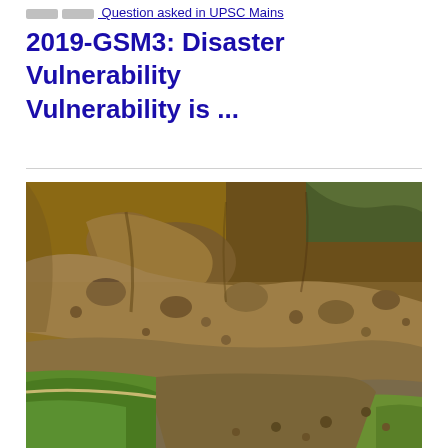[breadcrumb] [breadcrumb] Question asked in UPSC Mains 2019-GSM3: Disaster Vulnerability
2019-GSM3: Disaster Vulnerability
Vulnerability is ...
[Figure (photo): Aerial or close-up photograph of a landslide area showing exposed rocky hillside with loose boulders and debris, brown/reddish soil and rocks displaced, green grass visible at the bottom of the frame, and some vegetation/trees at the top.]